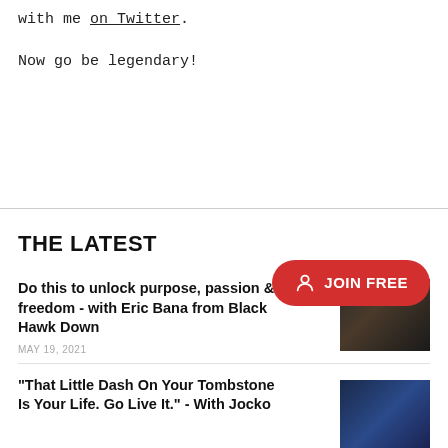with me on Twitter.
Now go be legendary!
THE LATEST
Do this to unlock purpose, passion & freedom - with Eric Bana from Black Hawk Down
MAY 19, 2021
[Figure (photo): Dark portrait photo of a man, likely from Black Hawk Down film]
[Figure (infographic): Red JOIN FREE button with person icon]
"That Little Dash On Your Tombstone Is Your Life. Go Live It." - With Jocko
[Figure (photo): Blue-toned action photo]